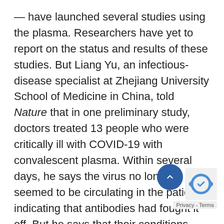— have launched several studies using the plasma. Researchers have yet to report on the status and results of these studies. But Liang Yu, an infectious-disease specialist at Zhejiang University School of Medicine in China, told Nature that in one preliminary study, doctors treated 13 people who were critically ill with COVID-19 with convalescent plasma. Within several days, he says the virus no longer seemed to be circulating in the patients, indicating that antibodies had fought it off. But he says that their conditions continued to deteriorate, suggesting that the disease might have been too far along for this therapy to be effective. Most had been sick for more than two w[…]
In one of three proposed US trials, Liise-anne